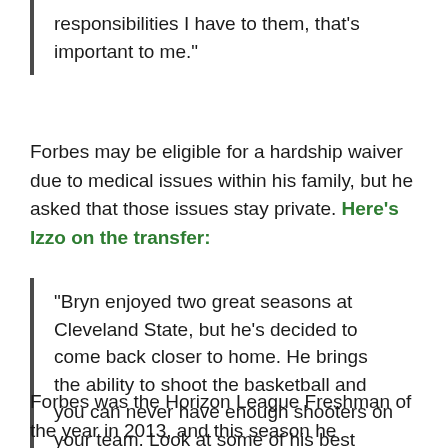responsibilities I have to them, that's important to me."
Forbes may be eligible for a hardship waiver due to medical issues within his family, but he asked that those issues stay private. Here's Izzo on the transfer:
"Bryn enjoyed two great seasons at Cleveland State, but he's decided to come back closer to home. He brings the ability to shoot the basketball and you can never have enough shooters on your team. Look at some of his best performances, and you can see that they've come against top-notch competition, such as scoring 22 points against Kentucky."
Forbes was the Horizon League Freshman of the year in 2013, and this season he averaged 15.6 points while